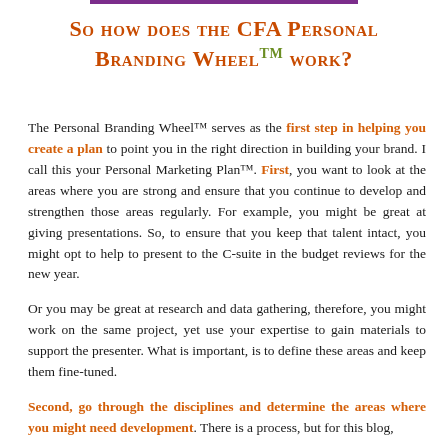So how does the CFA Personal Branding Wheel™ work?
The Personal Branding Wheel™ serves as the first step in helping you create a plan to point you in the right direction in building your brand. I call this your Personal Marketing Plan™. First, you want to look at the areas where you are strong and ensure that you continue to develop and strengthen those areas regularly. For example, you might be great at giving presentations. So, to ensure that you keep that talent intact, you might opt to help to present to the C-suite in the budget reviews for the new year.
Or you may be great at research and data gathering, therefore, you might work on the same project, yet use your expertise to gain materials to support the presenter. What is important, is to define these areas and keep them fine-tuned.
Second, go through the disciplines and determine the areas where you might need development. There is a process, but for this blog,